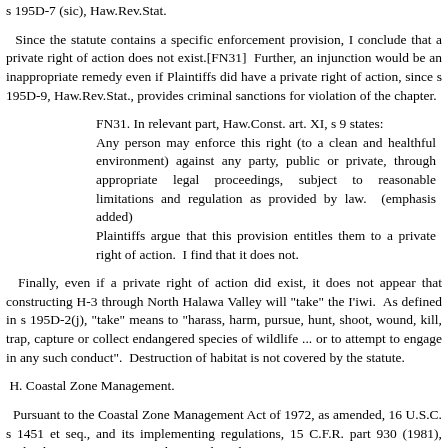s 195D-7 (sic), Haw.Rev.Stat.
Since the statute contains a specific enforcement provision, I conclude that a private right of action does not exist.[FN31]  Further, an injunction would be an inappropriate remedy even if Plaintiffs did have a private right of action, since s 195D-9, Haw.Rev.Stat., provides criminal sanctions for violation of the chapter.
FN31. In relevant part, Haw.Const. art. XI, s 9 states:
Any person may enforce this right (to a clean and healthful environment) against any party, public or private, through appropriate legal proceedings, subject to reasonable limitations and regulation as provided by law.  (emphasis added)
Plaintiffs argue that this provision entitles them to a private right of action.  I find that it does not.
Finally, even if a private right of action did exist, it does not appear that constructing H-3 through North Halawa Valley will "take" the I'iwi.  As defined in s 195D-2(j), "take" means to "harass, harm, pursue, hunt, shoot, wound, kill, trap, capture or collect endangered species of wildlife ... or to attempt to engage in any such conduct".  Destruction of habitat is not covered by the statute.
H. Coastal Zone Management.
Pursuant to the Coastal Zone Management Act of 1972, as amended, 16 U.S.C. s 1451 et seq., and its implementing regulations, 15 C.F.R. part 930 (1981), Federal agencies are required to conduct their activities in a manner consistent with state CZM programs.
Agency actions are divided into four categories: (1) Federal Activities, 15